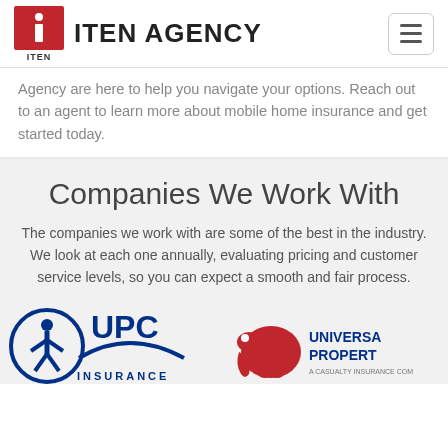ITEN AGENCY
Agency are here to help you navigate your options. Reach out to an agent to learn more about mobile home insurance and get started today.
Companies We Work With
The companies we work with are some of the best in the industry. We look at each one annually, evaluating pricing and customer service levels, so you can expect a smooth and fair process.
[Figure (logo): UPC Insurance logo with accessibility icon]
[Figure (logo): Universal Property & Casualty Insurance logo with elephant icon]